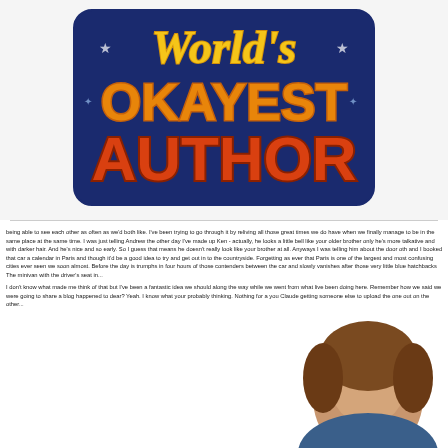[Figure (logo): World's Okayest Author retro-style logo with orange bubble letters on dark blue background]
being able to see each other as often as we'd both like. I've been trying to go through it by reliving all those great times we do have when we finally manage to be in the same place at the same time. I was just telling Andrew the other day I've made up Ken - actually, he looks a little bell like your older brother only he's more talkative and with darker hair. And he's nice and so early. So I guess that means he doesn't really look like your brother at all. Anyways I was telling him about the door oth and I booked that car a calendar in Paris and thought it'd be a good idea to try and get out in to the countryside. Forgetting as ever that Paris is one of the largest and most confusing cities ever seen we soon almost. Before the day is trumphs in four hours of those contenders between the car and slowly vanishes after those very little blue hatchbacks The minivan with the driver's seat in... come off it! I think with a mixed destiny that neither of us could make. Still one of the pictures I that actually a small matter on! anyway we'll still be telling around asking for directions. Maybe it seems somewhat to us! I don't know what made me think of that but I've been a fantastic idea we should along the way while we went from what live been doing here. Remember how we said we were going to share a blog happened to dear? Yeah. I know what your probably thinking. Nothing for a you Claude getting someone else to upload the one out on the other...